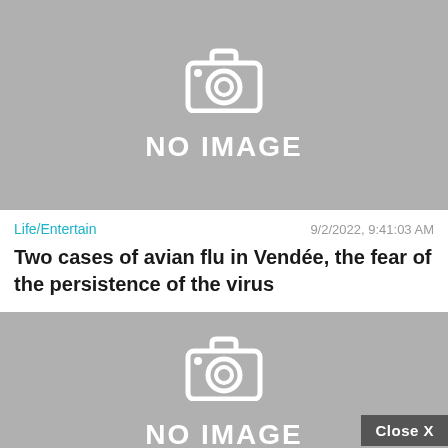[Figure (photo): Gray placeholder image with camera icon and 'NO IMAGE' text, top article]
Life/Entertain
9/2/2022, 9:41:03 AM
Two cases of avian flu in Vendée, the fear of the persistence of the virus
[Figure (photo): Gray placeholder image with camera icon and 'NO IMAGE' text, bottom article, with Close X button]